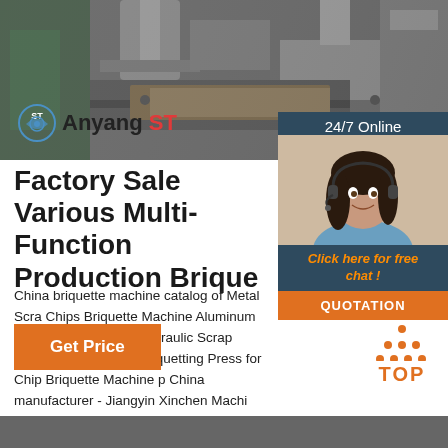[Figure (photo): Industrial metal briquetting press machine with hydraulic components, viewed from above. Worker visible at left edge. Anyang ST logo overlaid at bottom left.]
Factory Sale Various Multi-Function Production Brique
China briquette machine catalog of Metal Scra Chips Briquette Machine Aluminum Iron Powd Machine, Hydraulic Scrap Metal/Copper/Iron C Briquetting Press for Chip Briquette Machine p China manufacturer - Jiangyin Xinchen Machi Technology Co., Ltd, page1.
Get Price
[Figure (infographic): TOP button with orange dot triangle icon and orange TOP text label]